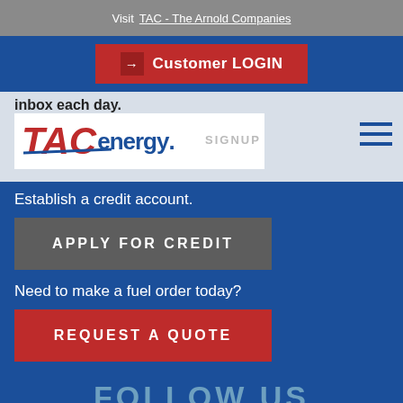Visit  TAC - The Arnold Companies
Customer LOGIN
inbox each day.
[Figure (logo): TAC energy logo — red italic TAC with blue energy wordmark]
SIGNUP
Establish a credit account.
APPLY FOR CREDIT
Need to make a fuel order today?
REQUEST A QUOTE
FOLLOW US